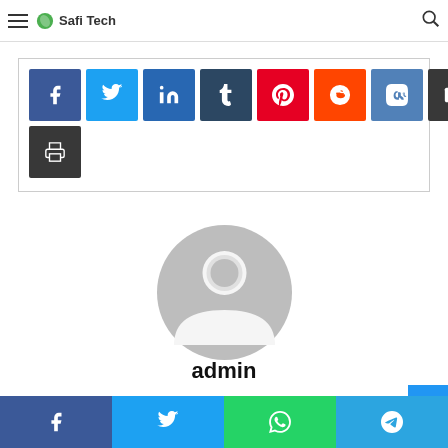Safi Tech — navigation bar with hamburger menu and search icon
[Figure (screenshot): Social share button group: Facebook, Twitter, LinkedIn, Tumblr, Pinterest, Reddit, VK, Email, Print]
[Figure (illustration): Generic gray user avatar circle icon]
admin
[Figure (illustration): Home icon]
[Figure (screenshot): Bottom social share bar: Facebook, Twitter, WhatsApp, Telegram]